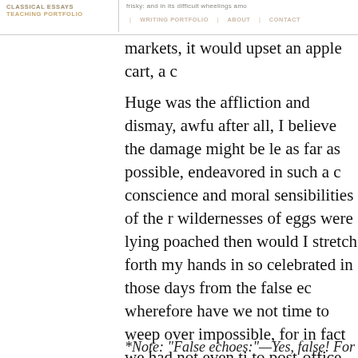CLASSICAL ESSAYS | TEACHING PORTFOLIO | WRITING PORTFOLIO | ABOUT | CONTACT
frisky: and in its difficult wheelings amo markets, it would upset an apple cart, a c Huge was the affliction and dismay, awfu after all, I believe the damage might be le as far as possible, endeavored in such a c conscience and moral sensibilities of the r wildernesses of eggs were lying poached then would I stretch forth my hands in so celebrated in those days from the false ec wherefore have we not time to weep over impossible, for in fact we had not even ti to post-office time, with an allowance in s for eleven miles, could the royal mail pre offices of sympathy and condolence? Cou tears for the accidents of the road? If ever humanity, it did so, I contended, in discha peremptory duties.
*Note: “False echoes:”—Yes, false! For the w